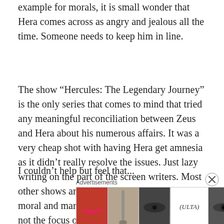example for morals, it is small wonder that Hera comes across as angry and jealous all the time. Someone needs to keep him in line.
The show “Hercules: The Legendary Journey” is the only series that comes to mind that tried any meaningful reconciliation between Zeus and Hera about his numerous affairs. It was a very cheap shot with having Hera get amnesia as it didn’t really resolve the issues. Just lazy writing on the part of the screen writers. Most other shows and movies tend to gloss over the moral and marital problems as that usually is not the focus of the story at hand that writers want to tackle and tell.
I couldn’t help but feel that...
Advertisements
[Figure (photo): Advertisement banner for ULTA beauty showing close-up images of lips with lipstick, makeup brush, eye with dramatic makeup, ULTA logo, another eye with makeup, and a SHOP NOW call to action button.]